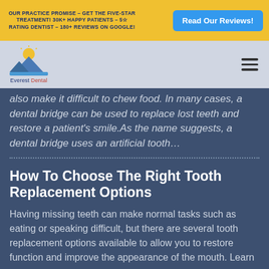OUR PRACTICE PROMISE – GET THE FIVE-STAR TREATMENT! 30K+ HAPPY PATIENTS – 5☆ RATING DENTIST – 180+ REVIEWS ON GOOGLE!
Read Our Reviews!
[Figure (logo): Everest Dental logo with sun and mountain graphic]
also make it difficult to chew food. In many cases, a dental bridge can be used to replace lost teeth and restore a patient's smile.As the name suggests, a dental bridge uses an artificial tooth…
How To Choose The Right Tooth Replacement Options
Having missing teeth can make normal tasks such as eating or speaking difficult, but there are several tooth replacement options available to allow you to restore function and improve the appearance of the mouth. Learn